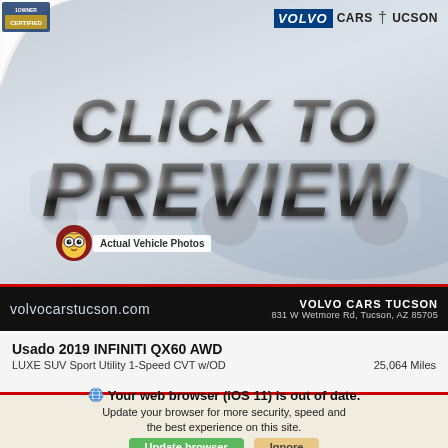[Figure (screenshot): Car dealership preview image with 'CLICK TO PREVIEW' chrome-style text over a blurred car lot background, Volvo Cars Tucson logo top-right, page curl top-left, owl mascot with 'Actual Vehicle Photos' badge, black dealer bar with volvocarstucson.com and address 831 W Wetmore Rd, Tucson, AZ 85705]
Usado 2019 INFINITI QX60 AWD
LUXE SUV Sport Utility 1-Speed CVT w/OD	25,064 Miles
Your web browser (iOS 11) is out of date.
Update your browser for more security, speed and the best experience on this site.
Update browser
Ignore